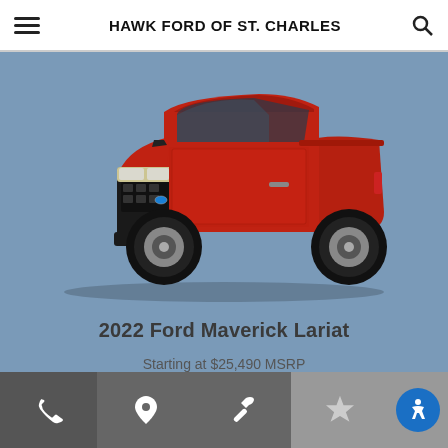HAWK FORD OF ST. CHARLES
[Figure (photo): 2022 Ford Maverick Lariat truck in red, front three-quarter view, on a steel blue background]
2022 Ford Maverick Lariat
Starting at $25,490 MSRP
Phone | Location | Service | Favorites | Accessibility